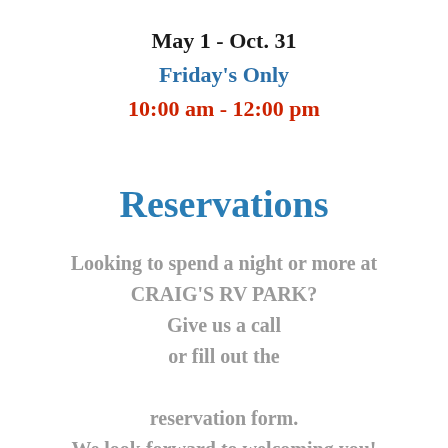May 1 - Oct. 31
Friday's Only
10:00 am - 12:00 pm
Reservations
Looking to spend a night or more at CRAIG'S RV PARK? Give us a call or fill out the reservation form. We look forward to welcoming you!